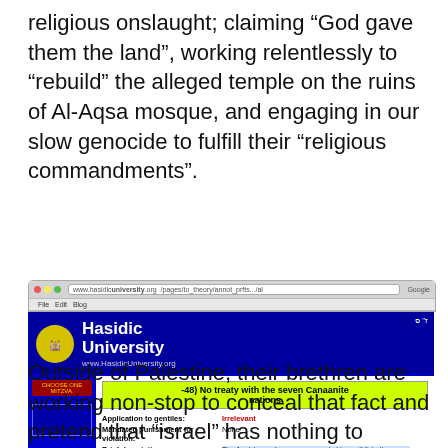religious onslaught; claiming “God gave them the land”, working relentlessly to “rebuild” the alleged temple on the ruins of Al-Aqsa mosque, and engaging in our slow genocide to fulfill their “religious commandments”.
[Figure (screenshot): Screenshot of Hasidic University website (www.HasidicUniversity.org) showing commandment -48) No treaty with the seven Canaanite nations, with fields: Application to gentiles: Irrelevant, Mandated punishment for violation: None, Brief description: text about Jewish commandment to annihilate seven gentile nations of Canaan.]
Outside of Palestine, their brethren are working non-stop to conceal that fact and pretend that “israel” has nothing to